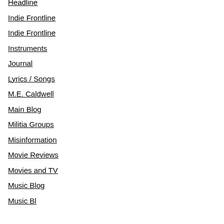Headline
Indie Frontline
Indie Frontline
Instruments
Journal
Lyrics / Songs
M.E. Caldwell
Main Blog
Militia Groups
Misinformation
Movie Reviews
Movies and TV
Music Blog
Music Bl…